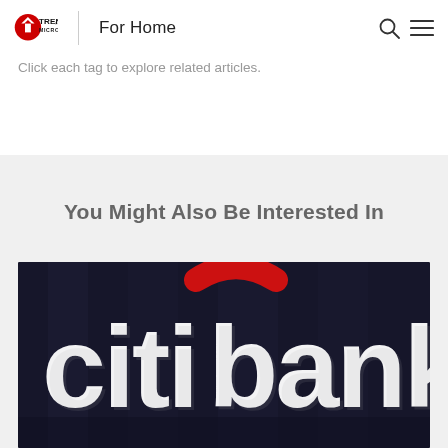Trend Micro | For Home
Click each tag to explore related articles.
You Might Also Be Interested In
[Figure (photo): Citibank illuminated 3D logo sign in white letters with a red arc above the letter 'i', mounted on a dark building exterior at night]